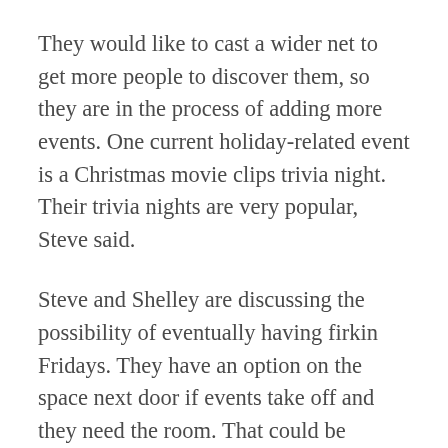They would like to cast a wider net to get more people to discover them, so they are in the process of adding more events. One current holiday-related event is a Christmas movie clips trivia night. Their trivia nights are very popular, Steve said.
Steve and Shelley are discussing the possibility of eventually having firkin Fridays. They have an option on the space next door if events take off and they need the room. That could be another area for a stage for music and comedy entertainment. They already have comedy nights every third Friday of the month, 21 and over only, and monthly paint nights. Steve and Shelley said